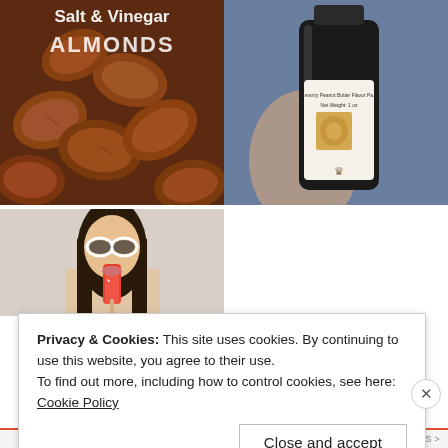[Figure (photo): Salt & Vinegar Almonds promotional photo with text overlay on brown almond background]
[Figure (photo): Hand holding a dark bottle with Peanut Butter Flavor label and crown logo]
[Figure (photo): Woman with sunglasses eating a colorful popsicle/ice pop]
Privacy & Cookies: This site uses cookies. By continuing to use this website, you agree to their use.
To find out more, including how to control cookies, see here: Cookie Policy
Close and accept